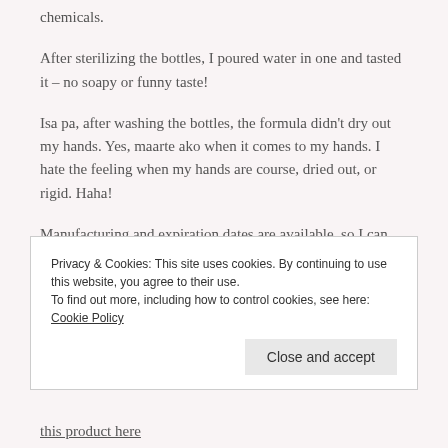chemicals.
After sterilizing the bottles, I poured water in one and tasted it – no soapy or funny taste!
Isa pa, after washing the bottles, the formula didn't dry out my hands. Yes, maarte ako when it comes to my hands. I hate the feeling when my hands are course, dried out, or rigid. Haha!
Manufacturing and expiration dates are available, so I can easily check if I shouldn't use it anymore. Some products just don't have these info on their packaging.
Privacy & Cookies: This site uses cookies. By continuing to use this website, you agree to their use.
To find out more, including how to control cookies, see here: Cookie Policy
Close and accept
this product here